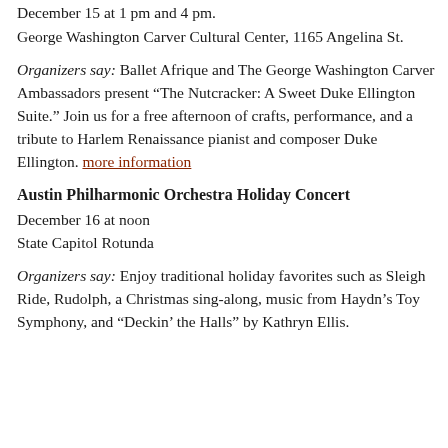December 15 at 1 pm and 4 pm.
George Washington Carver Cultural Center, 1165 Angelina St.
Organizers say: Ballet Afrique and The George Washington Carver Ambassadors present “The Nutcracker: A Sweet Duke Ellington Suite.” Join us for a free afternoon of crafts, performance, and a tribute to Harlem Renaissance pianist and composer Duke Ellington. more information
Austin Philharmonic Orchestra Holiday Concert
December 16 at noon
State Capitol Rotunda
Organizers say: Enjoy traditional holiday favorites such as Sleigh Ride, Rudolph, a Christmas sing-along, music from Haydn’s Toy Symphony, and “Deckin’ the Halls” by Kathryn Ellis.